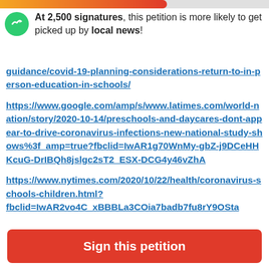[Figure (infographic): Orange-to-red progress bar at top of page, approximately 62% filled]
At 2,500 signatures, this petition is more likely to get picked up by local news!
guidance/covid-19-planning-considerations-return-to-in-person-education-in-schools/
https://www.google.com/amp/s/www.latimes.com/world-nation/story/2020-10-14/preschools-and-daycares-dont-appear-to-drive-coronavirus-infections-new-national-study-shows%3f_amp=true?fbclid=IwAR1g70WnMy-gbZ-j9DCeHHKcuG-DrIBQh8jslgc2sT2_ESX-DCG4y46vZhA
https://www.nytimes.com/2020/10/22/health/coronavirus-schools-children.html?
fbclid=IwAR2vo4C_xBBBLa3COia7badb7fu8rY9OSta
Sign this petition